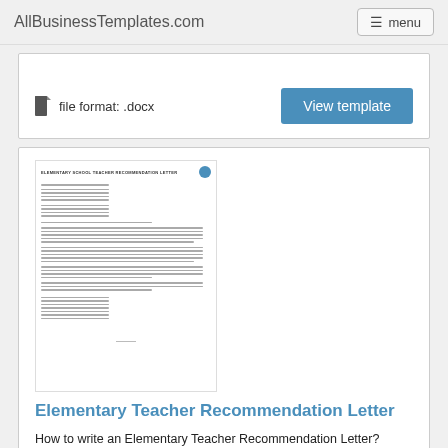AllBusinessTemplates.com
file format: .docx
View template
[Figure (screenshot): Thumbnail preview of an Elementary School Teacher Recommendation Letter document with lines of text and a blue logo circle in the top right.]
Elementary Teacher Recommendation Letter
How to write an Elementary Teacher Recommendation Letter? Download this Elementary Teacher Recommendation Letter template now!